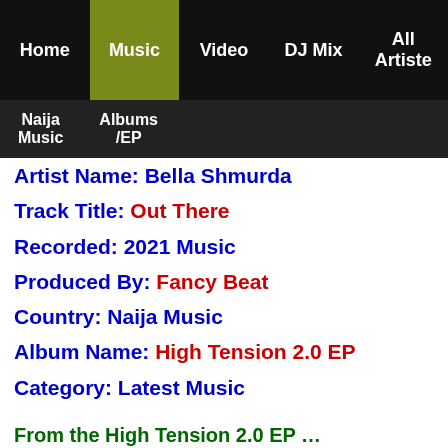Home | Music | Video | DJ Mix | All Artiste | Naija Music | Albums/EP
Artist Name: Bella Shmurda
Track Title: Out There
Recorded: 2021 Music
Produced By: Fancy Beat
Country: Naija Music
Album Name: High Tension 2.0 EP
Category: Latest Music
From the High Tension 2.0 EP …